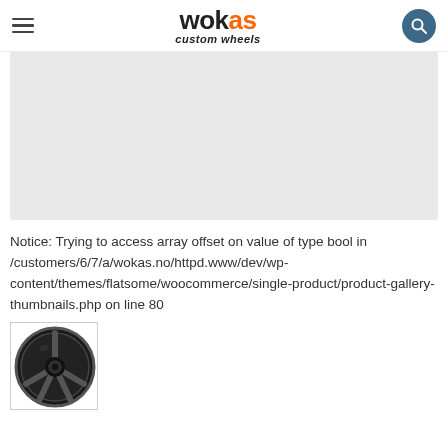wokas custom wheels
[Figure (other): Large gray placeholder image area for a product photo]
Notice: Trying to access array offset on value of type bool in /customers/6/7/a/wokas.no/httpd.www/dev/wp-content/themes/flatsome/woocommerce/single-product/product-gallery-thumbnails.php on line 80
[Figure (photo): Thumbnail of a dark/black custom car wheel with 5-spoke design]